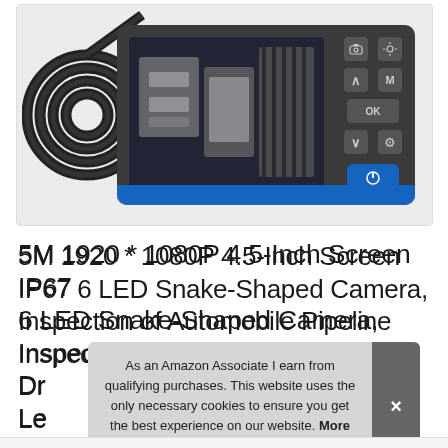[Figure (photo): Product photo of a handheld endoscope/borescope inspection camera device with a coiled black snake cable on the left, a display screen showing mechanical parts (engine components), and control buttons on the right side. Device has a blue power button and blue trim at the bottom.]
5M 1920 * 1080P 4.5-Inch Screen IP67 6 LED Snake-Shaped Camera, Inspection of Automobile Pipeline Dr... Le...
As an Amazon Associate I earn from qualifying purchases. This website uses the only necessary cookies to ensure you get the best experience on our website. More information